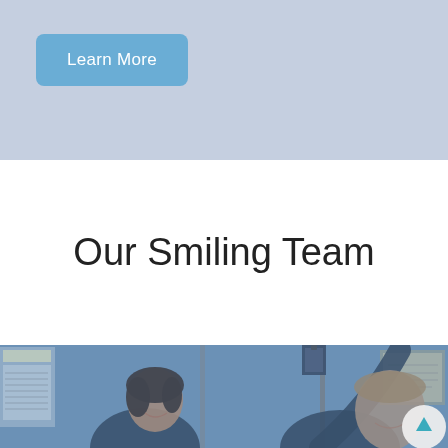[Figure (screenshot): Top banner area with light blue/grey background, containing a 'Learn More' button in cornflower blue with rounded corners and white text.]
Our Smiling Team
[Figure (photo): Photo of two smiling women in dark scrubs in a dental/medical office, with a blue tint overlay. One woman is reaching up to a clipboard on the wall. Office notices and a framed certificate visible in background.]